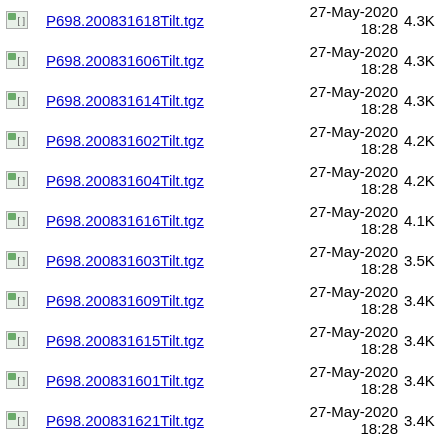P698.200831618Tilt.tgz  27-May-2020 18:28  4.3K
P698.200831606Tilt.tgz  27-May-2020 18:28  4.3K
P698.200831614Tilt.tgz  27-May-2020 18:28  4.3K
P698.200831602Tilt.tgz  27-May-2020 18:28  4.2K
P698.200831604Tilt.tgz  27-May-2020 18:28  4.2K
P698.200831616Tilt.tgz  27-May-2020 18:28  4.1K
P698.200831603Tilt.tgz  27-May-2020 18:28  3.5K
P698.200831609Tilt.tgz  27-May-2020 18:28  3.4K
P698.200831615Tilt.tgz  27-May-2020 18:28  3.4K
P698.200831601Tilt.tgz  27-May-2020 18:28  3.4K
P698.200831621Tilt.tgz  27-May-2020 18:28  3.4K
27-May-2020 (partial)